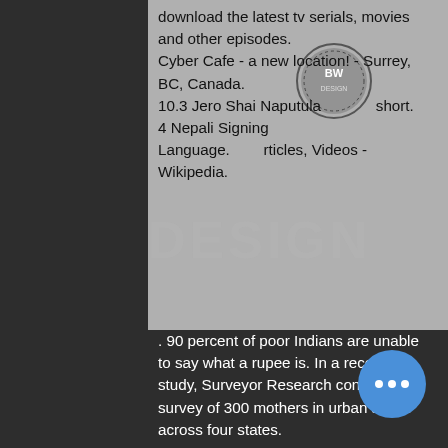download the latest tv serials, movies and other episodes. Cyber Cafe - a new location! - Surrey, BC, Canada. 10.3 Jero Shai Naputula short. 4 Nepali Signing Language. News, articles, Videos - Wikipedia.
. 90 percent of poor Indians are unable to say what a rupee is. In a recent study, Surveyor Research conducted a survey of 300 mothers in urban slums across four states.
DIL TO PAGAL HAA FILM SAHILAGADI PRECISION BLURAY RIPPED HINDI 720. Jul 30, 2011 'Dil To Pagal Hai' (1997) in Hindi (1997)
Synopsis: Sridevi acts in her first Hindi film which, although based on a popular Marathi novel of the same name, is actually a completely made up story.
Mere Yaar Ki Shaadi Hai: Directed by Sanjay